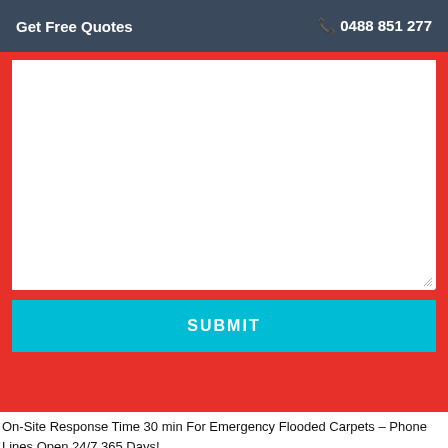Get Free Quotes   📞 0488 851 277
[Figure (screenshot): A web form on a red background with a large white textarea input field and a cyan SUBMIT button below it.]
On-Site Response Time 30 min For Emergency Flooded Carpets – Phone Lines Open 24/7 365 Days!